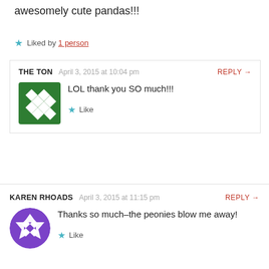awesomely cute pandas!!!
★ Liked by 1 person
THE TON   April 3, 2015 at 10:04 pm   REPLY →
LOL thank you SO much!!!
★ Like
KAREN RHOADS   April 3, 2015 at 11:15 pm   REPLY →
Thanks so much–the peonies blow me away!
★ Like